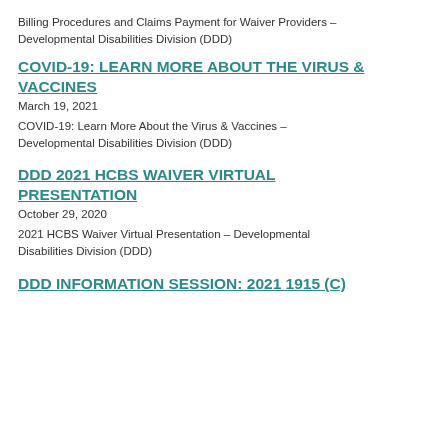Billing Procedures and Claims Payment for Waiver Providers – Developmental Disabilities Division (DDD)
COVID-19: LEARN MORE ABOUT THE VIRUS & VACCINES
March 19, 2021
COVID-19: Learn More About the Virus & Vaccines – Developmental Disabilities Division (DDD)
DDD 2021 HCBS WAIVER VIRTUAL PRESENTATION
October 29, 2020
2021 HCBS Waiver Virtual Presentation – Developmental Disabilities Division (DDD)
DDD INFORMATION SESSION: 2021 1915 (C)